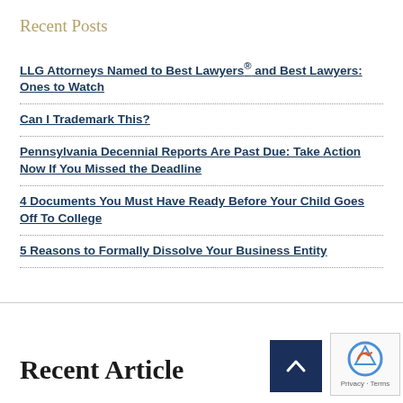Recent Posts
LLG Attorneys Named to Best Lawyers® and Best Lawyers: Ones to Watch
Can I Trademark This?
Pennsylvania Decennial Reports Are Past Due: Take Action Now If You Missed the Deadline
4 Documents You Must Have Ready Before Your Child Goes Off To College
5 Reasons to Formally Dissolve Your Business Entity
Recent Article